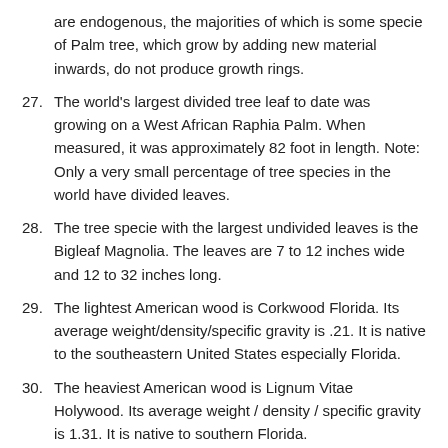are endogenous, the majorities of which is some specie of Palm tree, which grow by adding new material inwards, do not produce growth rings.
27. The world’s largest divided tree leaf to date was growing on a West African Raphia Palm. When measured, it was approximately 82 foot in length. Note: Only a very small percentage of tree species in the world have divided leaves.
28. The tree specie with the largest undivided leaves is the Bigleaf Magnolia. The leaves are 7 to 12 inches wide and 12 to 32 inches long.
29. The lightest American wood is Corkwood Florida. Its average weight/density/specific gravity is .21. It is native to the southeastern United States especially Florida.
30. The heaviest American wood is Lignum Vitae Holywood. Its average weight / density / specific gravity is 1.31. It is native to southern Florida.
Share: